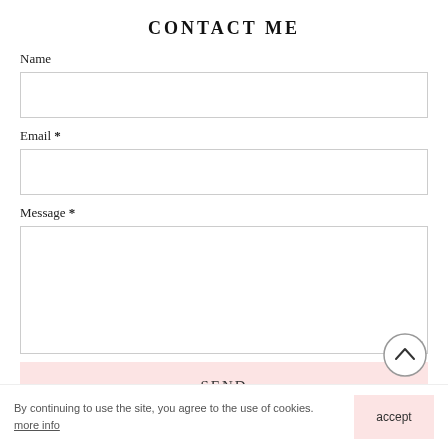CONTACT ME
Name
Email *
Message *
SEND
By continuing to use the site, you agree to the use of cookies. more info
accept